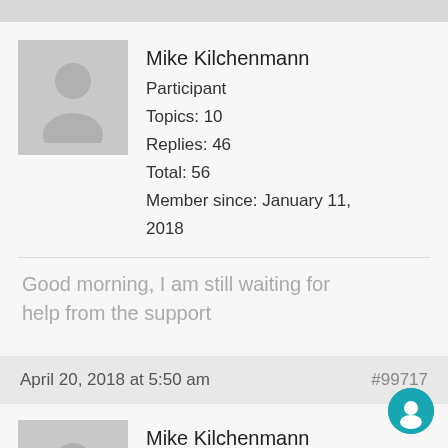Mike Kilchenmann
Participant
Topics: 10
Replies: 46
Total: 56
Member since: January 11, 2018
Good morning, I am still waiting for help from the support
April 20, 2018 at 5:50 am  #99717
Mike Kilchenmann
Participant
Topics: 10
Replies: 46